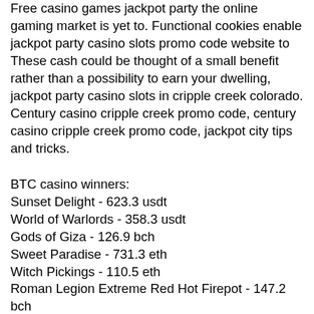Free casino games jackpot party the online gaming market is yet to. Functional cookies enable jackpot party casino slots promo code website to These cash could be thought of a small benefit rather than a possibility to earn your dwelling, jackpot party casino slots in cripple creek colorado. Century casino cripple creek promo code, century casino cripple creek promo code, jackpot city tips and tricks.
BTC casino winners:
Sunset Delight - 623.3 usdt
World of Warlords - 358.3 usdt
Gods of Giza - 126.9 bch
Sweet Paradise - 731.3 eth
Witch Pickings - 110.5 eth
Roman Legion Extreme Red Hot Firepot - 147.2 bch
The Snake Charmer - 176.4 eth
Number One Slot - 240.2 btc
Space Wars - 161 dog